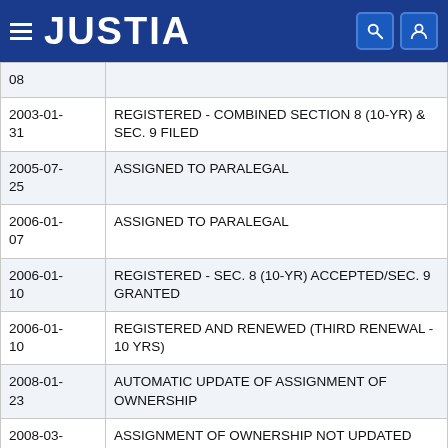JUSTIA
| Date | Event |
| --- | --- |
| 08 |  |
| 2003-01-31 | REGISTERED - COMBINED SECTION 8 (10-YR) & SEC. 9 FILED |
| 2005-07-25 | ASSIGNED TO PARALEGAL |
| 2006-01-07 | ASSIGNED TO PARALEGAL |
| 2006-01-10 | REGISTERED - SEC. 8 (10-YR) ACCEPTED/SEC. 9 GRANTED |
| 2006-01-10 | REGISTERED AND RENEWED (THIRD RENEWAL - 10 YRS) |
| 2008-01-23 | AUTOMATIC UPDATE OF ASSIGNMENT OF OWNERSHIP |
| 2008-03- | ASSIGNMENT OF OWNERSHIP NOT UPDATED |